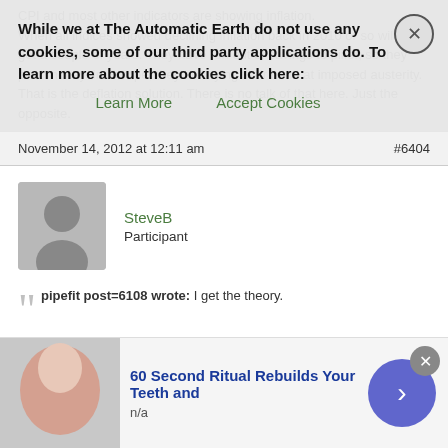CPI and most other indicators are showing inflation. When all indices showed declining inflation back in 2010 or so will we get a couple of years. They have run out of savings to pilfer, so they print money. In Europe, they are trying their hand at imposed austerity. That is the deflation solution. There is no talk of that here. Just the opposite.
November 14, 2012 at 12:11 am  #6404
SteveB
Participant
pipefit post=6108 wrote: I get the theory.
Not so, it seems.
A few suggestions: revisit what TAE has written about inflation vs. higher prices–'"Inflation' Deflated" (in the Primers section) was recommended by Stoneleigh recently; consider the validity of the indicators you cite; consider that what's discussed publicly in the US is not necessarily a
While we at The Automatic Earth do not use any cookies, some of our third party applications do. To learn more about the cookies click here:   Learn More   Accept Cookies
60 Second Ritual Rebuilds Your Teeth and
n/a